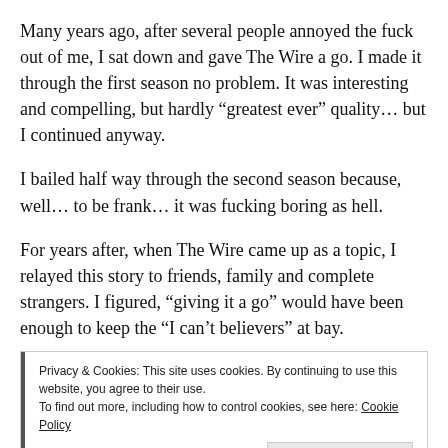Many years ago, after several people annoyed the fuck out of me, I sat down and gave The Wire a go. I made it through the first season no problem. It was interesting and compelling, but hardly “greatest ever” quality… but I continued anyway.
I bailed half way through the second season because, well… to be frank… it was fucking boring as hell.
For years after, when The Wire came up as a topic, I relayed this story to friends, family and complete strangers. I figured, “giving it a go” would have been enough to keep the “I can’t believers” at bay.
Privacy & Cookies: This site uses cookies. By continuing to use this website, you agree to their use.
To find out more, including how to control cookies, see here: Cookie Policy